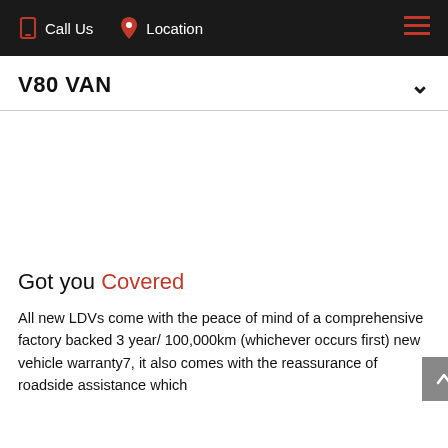Call Us   Location
V80 VAN
[Figure (photo): White area representing vehicle image placeholder]
Got you Covered
All new LDVs come with the peace of mind of a comprehensive factory backed 3 year/ 100,000km (whichever occurs first) new vehicle warranty7, it also comes with the reassurance of roadside assistance which